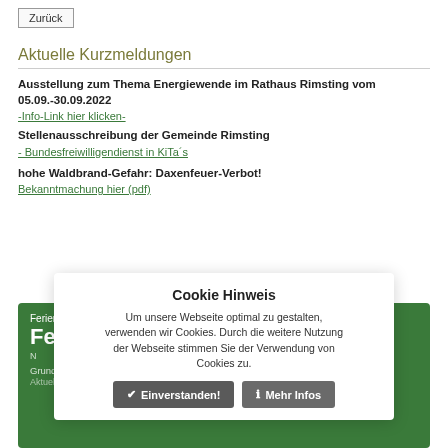Zurück
Aktuelle Kurzmeldungen
Ausstellung zum Thema Energiewende im Rathaus Rimsting vom 05.09.-30.09.2022
-Info-Link hier klicken-
Stellenausschreibung der Gemeinde Rimsting
- Bundesfreiwilligendienst in KiTa´s
hohe Waldbrand-Gefahr: Daxenfeuer-Verbot!
Bekanntmachung hier (pdf)
[Figure (screenshot): Green box section showing Ferienprogramm Rimsting content partially obscured by cookie consent overlay]
Cookie Hinweis
Um unsere Webseite optimal zu gestalten, verwenden wir Cookies. Durch die weitere Nutzung der Webseite stimmen Sie der Verwendung von Cookies zu.
Einverstanden!  Mehr Infos